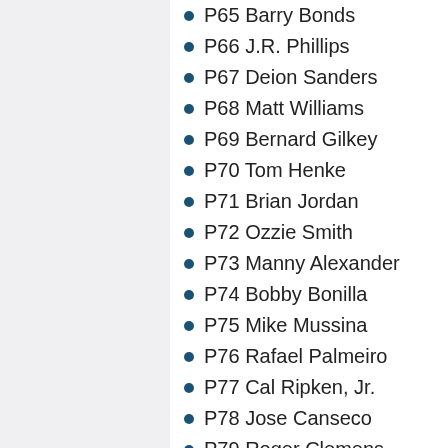P65 Barry Bonds
P66 J.R. Phillips
P67 Deion Sanders
P68 Matt Williams
P69 Bernard Gilkey
P70 Tom Henke
P71 Brian Jordan
P72 Ozzie Smith
P73 Manny Alexander
P74 Bobby Bonilla
P75 Mike Mussina
P76 Rafael Palmeiro
P77 Cal Ripken, Jr.
P78 Jose Canseco
P79 Roger Clemens
P80 John Valentin
P81 Mo Vaughn
P82 Tim Wakefield